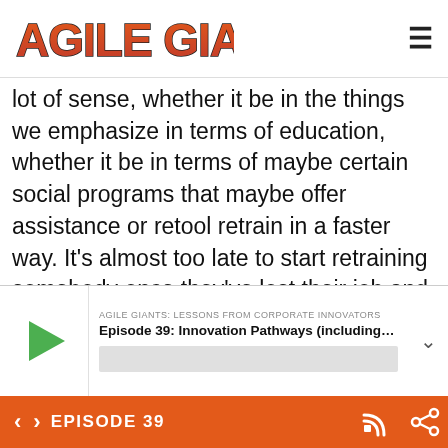AGILE GIANTS
lot of sense, whether it be in the things we emphasize in terms of education, whether it be in terms of maybe certain social programs that maybe offer assistance or retool retrain in a faster way. It’s almost too late to start retraining somebody once they’ve lost their job and it’s not coming back. And by the way, the thousand other people at their plant are also in the same position. So is there a way to maybe rethink
AGILE GIANTS: LESSONS FROM CORPORATE INNOVATORS
Episode 39: Innovation Pathways (including CVC...
EPISODE 39